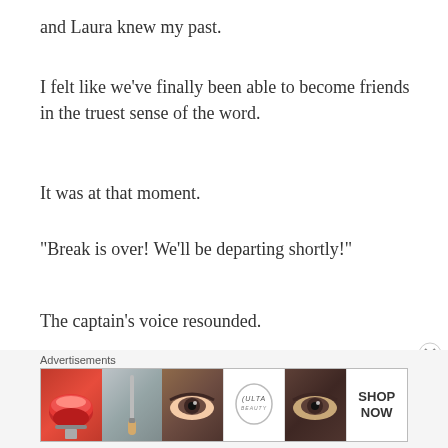and Laura knew my past.
I felt like we’ve finally been able to become friends in the truest sense of the word.
It was at that moment.
“Break is over! We’ll be departing shortly!”
The captain’s voice resounded.
Laura and I exchanged glances and headed to our original spot.
Advertisements
[Figure (photo): Advertisement banner for ULTA beauty products showing close-up photos of lips, makeup brush, eye with eyebrow, ULTA logo, another eye close-up, and SHOP NOW text]